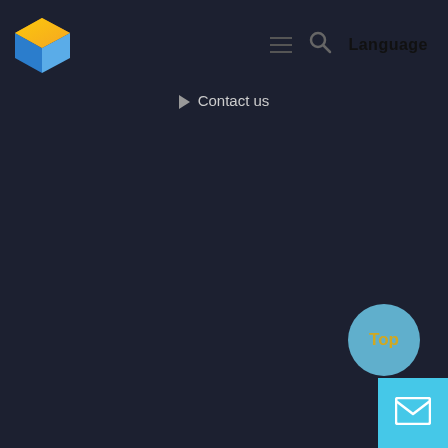[Figure (logo): Colorful cube logo with orange/yellow top and blue sides]
≡  🔍  Language
▶  Contact us
[Figure (illustration): Dark navy background filling majority of the page]
[Figure (illustration): Light blue circular 'Top' button in bottom right corner]
[Figure (illustration): Cyan square mail/envelope button in bottom right corner]